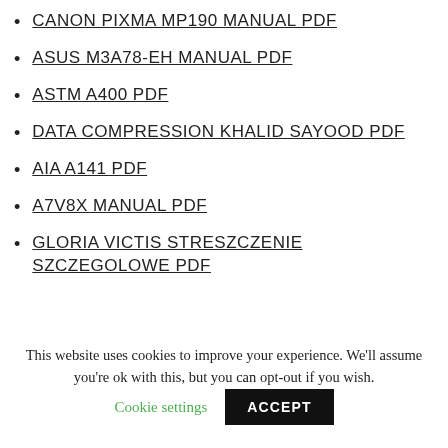CANON PIXMA MP190 MANUAL PDF
ASUS M3A78-EH MANUAL PDF
ASTM A400 PDF
DATA COMPRESSION KHALID SAYOOD PDF
AIA A141 PDF
A7V8X MANUAL PDF
GLORIA VICTIS STRESZCZENIE SZCZEGOLOWE PDF
This website uses cookies to improve your experience. We'll assume you're ok with this, but you can opt-out if you wish.
Cookie settings  ACCEPT